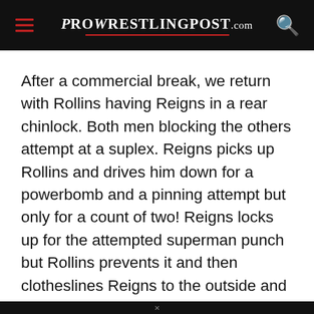ProWrestlingPost.com
After a commercial break, we return with Rollins having Reigns in a rear chinlock. Both men blocking the others attempt at a suplex. Reigns picks up Rollins and drives him down for a powerbomb and a pinning attempt but only for a count of two! Reigns locks up for the attempted superman punch but Rollins prevents it and then clotheslines Reigns to the outside and hits two suicide dives. Rollins hits a frog splash but only for a count of two. Both men make it